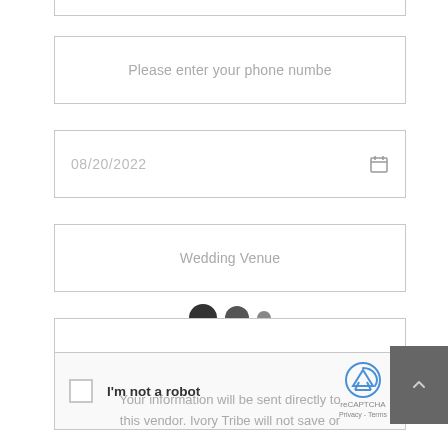[Figure (screenshot): Form input field with placeholder text 'Please enter your phone numbe' (truncated)]
[Figure (screenshot): Date input field showing '08/20/2022' with a calendar icon on the right]
[Figure (screenshot): Input field with placeholder text 'Wedding Venue']
[Figure (screenshot): Three dots (loading indicator) above a textarea with placeholder 'Add a message and tell us about your plans']
[Figure (screenshot): reCAPTCHA widget with checkbox and 'I'm not a robot' label]
Your information will be sent directly to this vendor. Ivory Tribe will not save or